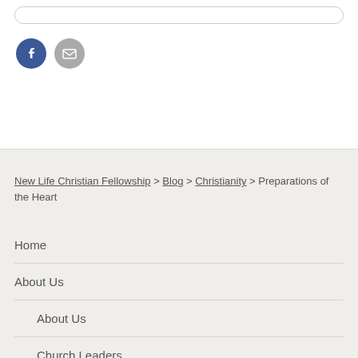[Figure (screenshot): Partial search bar at top of page]
[Figure (illustration): Social media icons: Facebook (blue circle with f) and email (grey circle with envelope)]
New Life Christian Fellowship > Blog > Christianity > Preparations of the Heart
Home
About Us
About Us
Church Leaders
Ministries